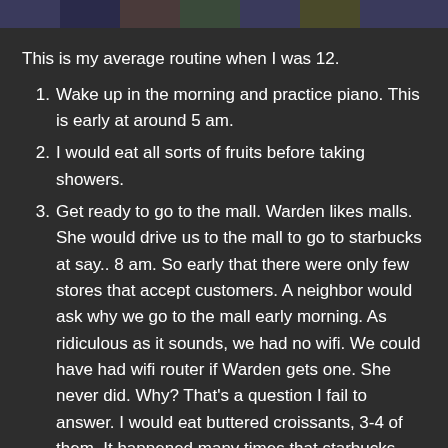[Figure (photo): Header image strip showing partial photos at the top of the page]
This is my average routine when I was 12.
Wake up in the morning and practice piano. This is early at around 5 am.
I would eat all sorts of fruits before taking showers.
Get ready to go to the mall. Warden likes malls. She would drive us to the mall to go to starbucks at say.. 8 am. So early that there were only few stores that accept customers. A neighbor would ask why we go to the mall early morning. As ridiculous as it sounds, we had no wifi. We could have had wifi router if Warden gets one. She never did. Why? That's a question I fail to answer. I would eat buttered croissants, 3-4 of them. It happened many times that starbucks would run